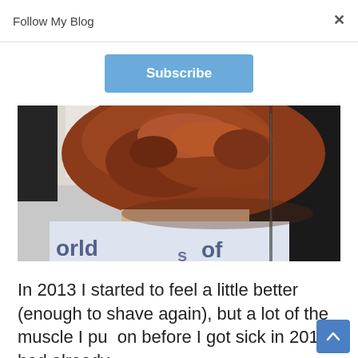Follow My Blog
Subscribe
[Figure (photo): Close-up photo of the back of a person's head showing reddish-brown hair, wearing a dark jacket. A white fabric with partial text 'orld of' visible below.]
In 2013 I started to feel a little better (enough to shave again), but a lot of the muscle I put on before I got sick in 2010 had already